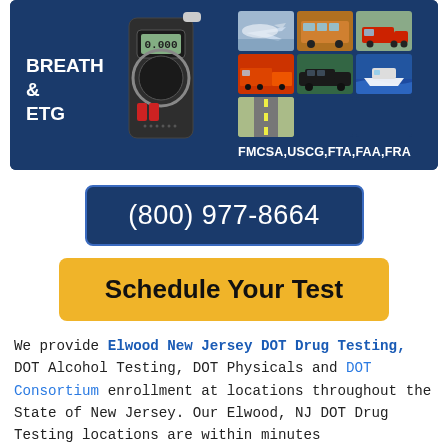[Figure (infographic): Banner with two panels on dark blue background. Left panel shows a breathalyzer device with text 'BREATH & ETG'. Right panel shows photos of transportation vehicles (airplane, bus, truck, semi-truck, limousine, boat, road) with text 'FMCSA,USCG,FTA,FAA,FRA'.]
(800) 977-8664
Schedule Your Test
We provide Elwood New Jersey DOT Drug Testing, DOT Alcohol Testing, DOT Physicals and DOT Consortium enrollment at locations throughout the State of New Jersey. Our Elwood, NJ DOT Drug Testing locations are within minutes